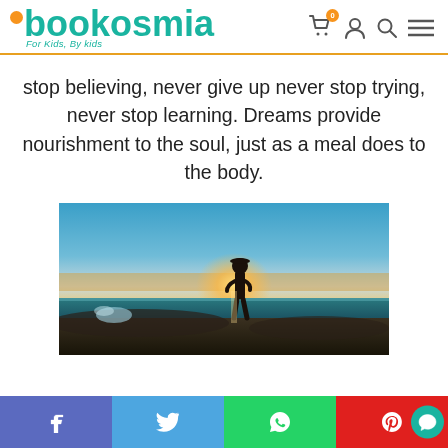[Figure (logo): Bookosmia logo — teal text with orange dot accent, tagline 'For Kids, By kids', with cart, user, search, and menu icons]
stop believing, never give up never stop trying, never stop learning. Dreams provide nourishment to the soul, just as a meal does to the body.
[Figure (photo): Person standing on rocky coast at sunset, silhouetted against the glowing horizon, with ocean waves splashing nearby]
[Figure (infographic): Social sharing bar with Facebook (purple-blue), Twitter (blue), WhatsApp (green), Pinterest (red) icons, and a teal chat bubble icon]